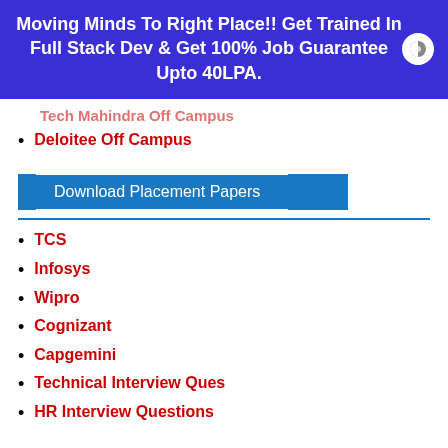Moving Minds To Right Place!! Get Trained In Full Stack Dev & Get 100% Job Guarantee Upto 40LPA.
Deloitee Off Campus
Download Placement Papers
TCS
Infosys
Wipro
Cognizant
Capgemini
Technical Interview Ques
HR Interview Questions